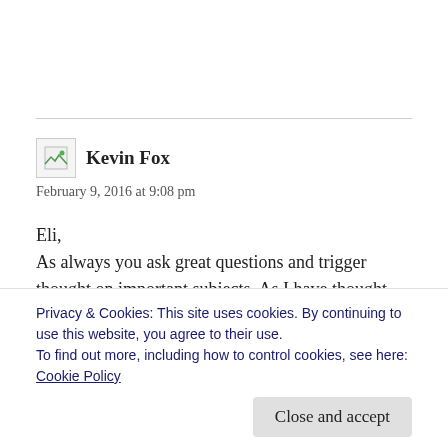[Figure (photo): Avatar placeholder image for comment author]
Kevin Fox
February 9, 2016 at 9:08 pm
Eli,
As always you ask great questions and trigger thought on important subjects. As I have thought about your analysis and the many interesting
Privacy & Cookies: This site uses cookies. By continuing to use this website, you agree to their use.
To find out more, including how to control cookies, see here: Cookie Policy
Close and accept
Of course we have to ask whether we should even